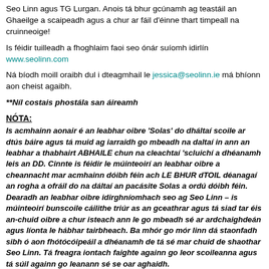Seo Linn agus TG Lurgan. Anois tá bhur gcúnamh ag teastáil an Ghaeilge a scaipeadh agus a chur ar fáil d'éinne thart timpeall na cruinneoige!
Is féidir tuilleadh a fhoghlaim faoi seo ónár suíomh idirlín www.seolinn.com
Ná bíodh moill oraibh dul i dteagmhail le jessica@seolinn.ie má bhíonn aon cheist agaibh.
**Níl costais phostála san áireamh
NÓTA:
Is acmhainn aonair é an leabhar oibre 'Solas' do dháltaí scoile ar dtús báire agus tá muid ag iarraidh go mbeadh na daltaí in ann an leabhar a thabhairt ABHAILE chun na cleachtaí 'scluichí a dhéanamh leis an DD. Cinnte is féidir le múinteoirí an leabhar oibre a cheannacht mar acmhainn dóibh féin ach LE BHUR dTOIL déanagaí an rogha a ofráil do na dáltaí an pacásite Solas a ordú dóibh féin. Dearadh an leabhar oibre idirghníomhach seo ag Seo Linn – is múinteoirí bunscoile cáilithe triúr as an gceathrar agus tá siad tar éis an-chuid oibre a chur isteach ann le go mbeadh sé ar ardchaighdeán agus líonta le hábhar tairbheach. Ba mhór go mór linn dá staonfadh sibh ó aon fhótócóipeáil a dhéanamh de tá sé mar chuid de shaothar Seo Linn. Tá freagra iontach faighte againn go leor scoileanna agus tá súil againn go leanann sé se oar aghaidh.